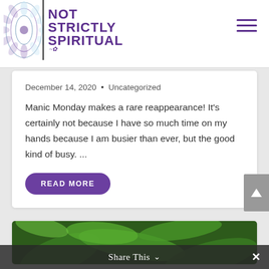NOT STRICTLY SPIRITUAL
December 14, 2020 • Uncategorized
Manic Monday makes a rare reappearance! It's certainly not because I have so much time on my hands because I am busier than ever, but the good kind of busy. ...
READ MORE
[Figure (photo): Partial view of green leaves, bottom section of a blog post card]
Share This